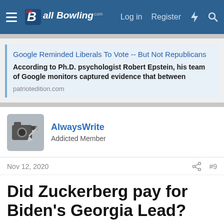allBowling.com — Log in   Register
[Figure (screenshot): Link preview card for patriotedition.com article: 'Google Reminded Liberals To Vote -- But Not Republicans'. Description: According to Ph.D. psychologist Robert Epstein, his team of Google monitors captured evidence that between. URL: patriotedition.com]
AlwaysWrite
Addicted Member
Nov 12, 2020   #9
Did Zuckerberg pay for Biden's Georgia Lead?